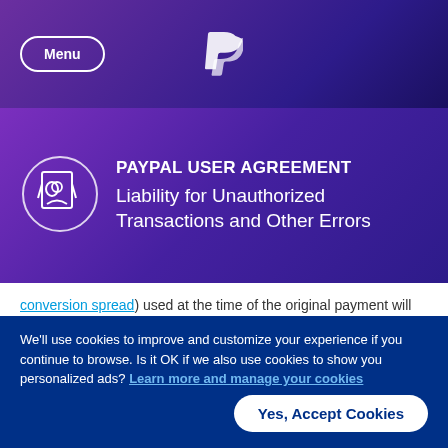Menu | PayPal
PAYPAL USER AGREEMENT
Liability for Unauthorized Transactions and Other Errors
conversion spread) used at the time of the original payment will apply.
Beyond 1 day of the date of the original payment, PayPal's transaction exchange rate (including a currency conversion spread) on the date of the refund will apply.
We'll use cookies to improve and customize your experience if you continue to browse. Is it OK if we also use cookies to show you personalized ads? Learn more and manage your cookies
Yes, Accept Cookies